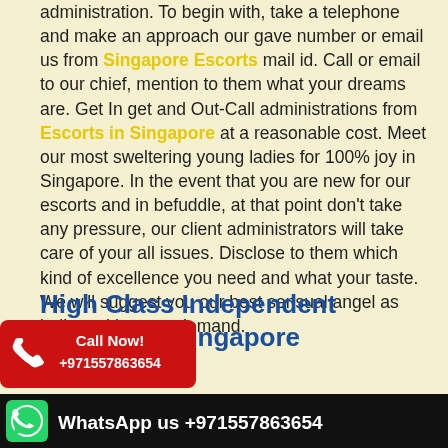administration. To begin with, take a telephone and make an approach our gave number or email us from Singapore Escorts mail id. Call or email to our chief, mention to them what your dreams are. Get In get and Out-Call administrations from Escorts in Singapore at a reasonable cost. Meet our most sweltering young ladies for 100% joy in Singapore. In the event that you are new for our escorts and in befuddle, at that point don't take any pressure, our client administrators will take care of your all issues. Disclose to them which kind of excellence you need and what your taste. We will suggest you our best sensual angel as indicated by your demand.
High Class Independent Escorts in Singapore
[Figure (infographic): Red Call Now badge with phone icon and number +971557863654]
Call/WhatsApp: +919953274109 it is we, the Indian me that she is of toys that she
[Figure (infographic): WhatsApp us +971557863654 dark banner at bottom]